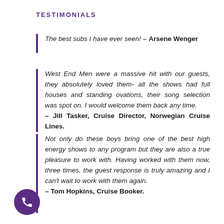TESTIMONIALS
The best subs I have ever seen! – Arsene Wenger
West End Men were a massive hit with our guests, they absolutely loved them- all the shows had full houses and standing ovations, their song selection was spot on. I would welcome them back any time. – Jill Tasker, Cruise Director, Norwegian Cruise Lines.
Not only do these boys bring one of the best high energy shows to any program but they are also a true pleasure to work with. Having worked with them now, three times, the guest response is truly amazing and I can't wait to work with them again. – Tom Hopkins, Cruise Booker.